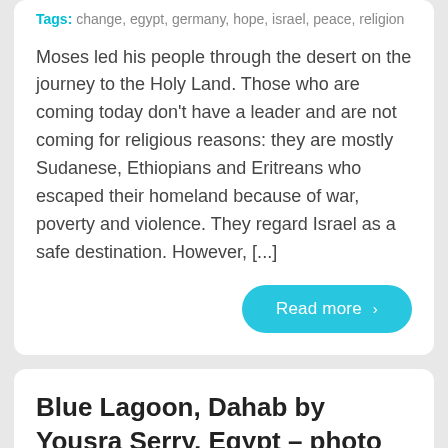Tags: change, egypt, germany, hope, israel, peace, religion
Moses led his people through the desert on the journey to the Holy Land. Those who are coming today don't have a leader and are not coming for religious reasons: they are mostly Sudanese, Ethiopians and Eritreans who escaped their homeland because of war, poverty and violence. They regard Israel as a safe destination. However, [...]
Read more ›
Blue Lagoon, Dahab by Yousra Serry, Egypt – photo essay –
Published: February 27, 2017